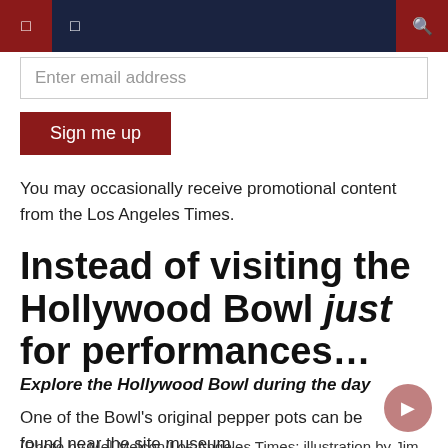Navigation bar with menu icons and search
Enter email address
Sign me up
You may occasionally receive promotional content from the Los Angeles Times.
Instead of visiting the Hollywood Bowl just for performances…
Explore the Hollywood Bowl during the day
One of the Bowl's original pepper pots can be found near the site museum.
(Photo by Mel Melcon/Los Angeles Times; illustration by Jim